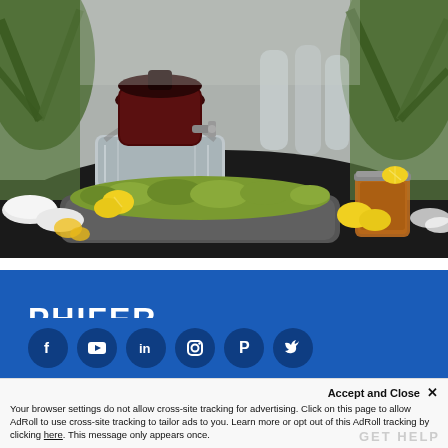[Figure (photo): Outdoor beverage station with a dark red drink dispenser in a galvanized metal bucket, mason jars of iced tea garnished with lemon slices, a trough planter with green moss/grass, yellow flowers, and tropical palm plants in the background.]
[Figure (logo): PHIFER. logo in bold white text on blue background, with underline]
[Figure (infographic): Social media icons row: Facebook, YouTube, LinkedIn, Instagram, Pinterest, Twitter — white icons on dark navy circular backgrounds on blue banner]
Accept and Close ×
Your browser settings do not allow cross-site tracking for advertising. Click on this page to allow AdRoll to use cross-site tracking to tailor ads to you. Learn more or opt out of this AdRoll tracking by clicking here. This message only appears once.